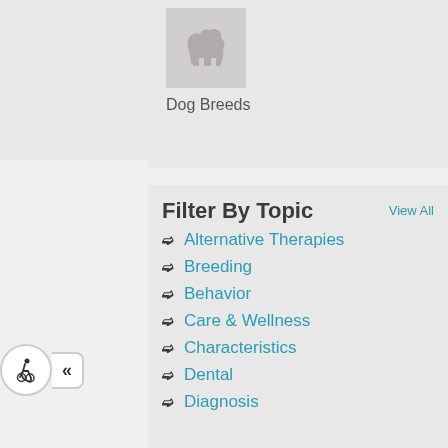[Figure (illustration): Dog silhouette thumbnail image placeholder]
Dog Breeds
Filter By Topic
View All
Alternative Therapies
Breeding
Behavior
Care & Wellness
Characteristics
Dental
Diagnosis
[Figure (illustration): Accessibility widget with wheelchair icon and collapse arrow]